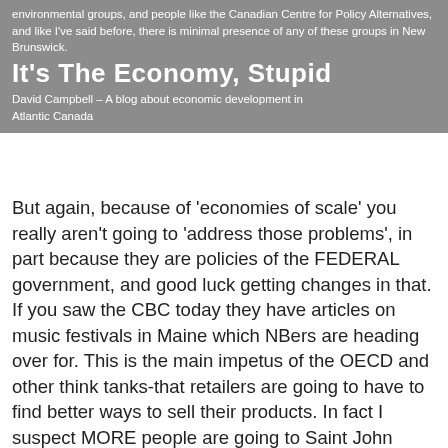environmental groups, and people like the Canadian Centre for Policy Alternatives, and like I've said before, there is minimal presence of any of these groups in New Brunswick.
It's The Economy, Stupid
David Campbell – A blog about economic development in Atlantic Canada
But again, because of 'economies of scale' you really aren't going to 'address those problems', in part because they are policies of the FEDERAL government, and good luck getting changes in that. If you saw the CBC today they have articles on music festivals in Maine which NBers are heading over for. This is the main impetus of the OECD and other think tanks-that retailers are going to have to find better ways to sell their products. In fact I suspect MORE people are going to Saint John shopping than Maine. Small town retailers have a tough row to hoe ANYWHERE. Heck even in BIG cities most new enterprises are restaurants. But again I reference St.Jacobs, this is a little hick suburb outside of Waterloo which gets more tourists than Kitchener, Waterloo or Cambridge. They have a HUGE farmers market, so huge in fact that locals rarely go in summer. But the main street of St.Jacobs is swamped on saturday mornings, even though the stores themselves are nothing particularly special-its just been MARKETED in such a way that its a 'destination'.